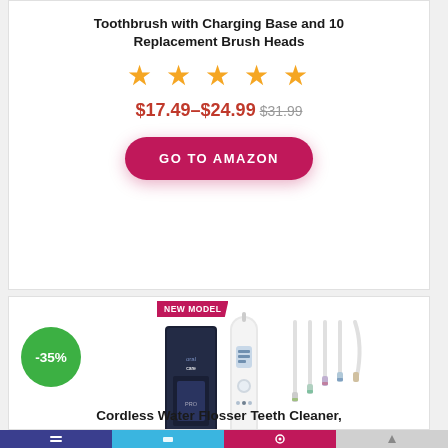Toothbrush with Charging Base and 10 Replacement Brush Heads
[Figure (other): Five orange star rating icons]
$17.49–$24.99 $31.99
GO TO AMAZON
[Figure (photo): Water flosser product image with new model banner and -35% discount badge]
Cordless Water Flosser Teeth Cleaner,